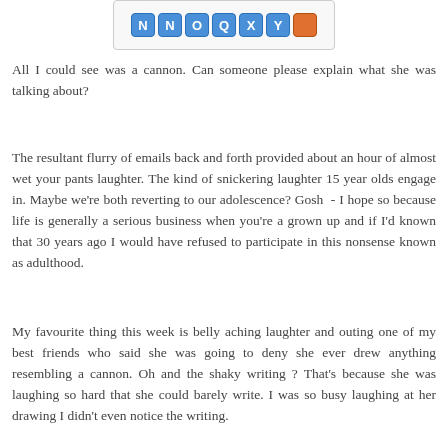[Figure (screenshot): Screenshot of a word game tile tray showing letter tiles N, N, O, Q, X, Y in blue and an orange tile, on a dark background.]
All I could see was a cannon. Can someone please explain what she was talking about?
The resultant flurry of emails back and forth provided about an hour of almost wet your pants laughter. The kind of snickering laughter 15 year olds engage in. Maybe we're both reverting to our adolescence? Gosh  - I hope so because life is generally a serious business when you're a grown up and if I'd known that 30 years ago I would have refused to participate in this nonsense known as adulthood.
My favourite thing this week is belly aching laughter and outing one of my best friends who said she was going to deny she ever drew anything resembling a cannon. Oh and the shaky writing ? That's because she was laughing so hard that she could barely write. I was so busy laughing at her drawing I didn't even notice the writing.